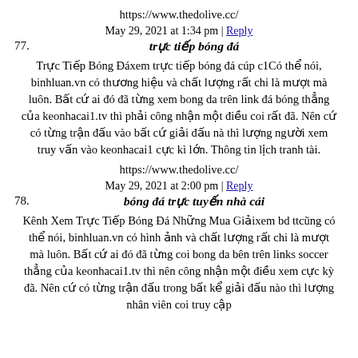https://www.thedolive.cc/
May 29, 2021 at 1:34 pm | Reply
77. trực tiếp bóng đá
Trực Tiếp Bóng Đáxem trực tiếp bóng đá cúp c1Có thể nói, binhluan.vn có thương hiệu và chất lượng rất chi là mượt mà luôn. Bất cứ ai đó đã từng xem bong da trên link đá bóng thẳng của keonhacai1.tv thì phải công nhận một điều coi rất đã. Nên cứ có từng trận đấu vào bất cứ giải đấu nà thì lượng người xem truy vấn vào keonhacai1 cực kì lớn. Thông tin lịch tranh tài.
https://www.thedolive.cc/
May 29, 2021 at 2:00 pm | Reply
78. bóng đá trực tuyến nhà cái
Kênh Xem Trực Tiếp Bóng Đá Những Mua Giảixem bd ttcũng có thể nói, binhluan.vn có hình ảnh và chất lượng rất chi là mượt mà luôn. Bất cứ ai đó đã từng coi bong da bên trên links soccer thẳng của keonhacai1.tv thì nên công nhận một điều xem cực kỳ đã. Nên cứ có từng trận đấu trong bất kể giải đấu nào thì lượng nhân viên coi truy cập